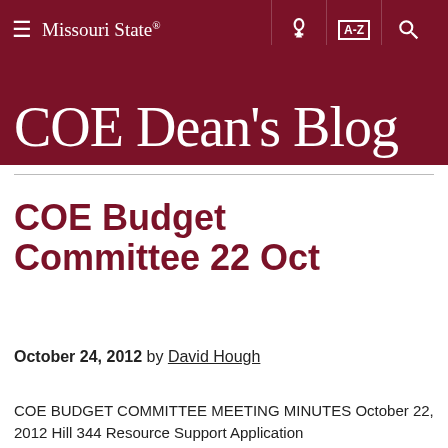Missouri State
COE Dean's Blog
COE Budget Committee 22 Oct
October 24, 2012 by David Hough
COE BUDGET COMMITTEE MEETING MINUTES October 22, 2012 Hill 344 Resource Support Application...